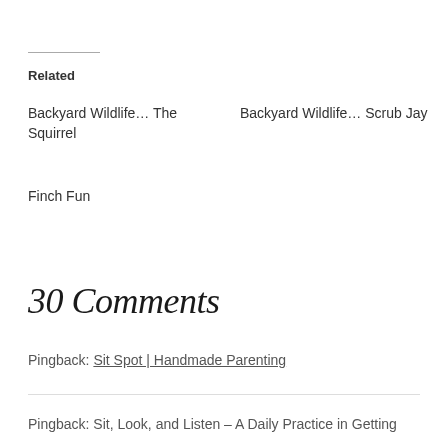Related
Backyard Wildlife… The Squirrel
Backyard Wildlife… Scrub Jay
Finch Fun
30 Comments
Pingback: Sit Spot | Handmade Parenting
Pingback: Sit, Look, and Listen – A Daily Practice in Getting